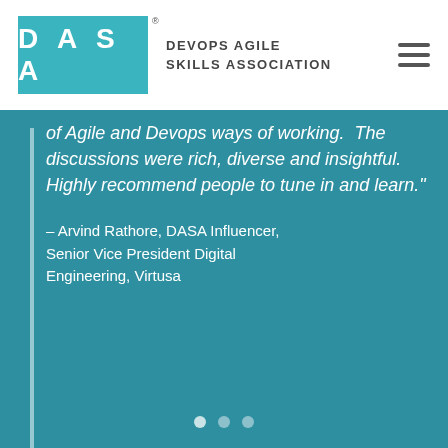DASA — DEVOPS AGILE SKILLS ASSOCIATION
of Agile and Devops ways of working.  The discussions were rich, diverse and insightful. Highly recommend people to tune in and learn."
– Arvind Rathore, DASA Influencer, Senior Vice President Digital Engineering, Virtusa